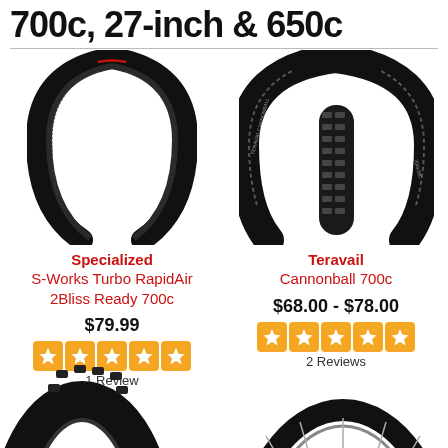700c, 27-inch & 650c
[Figure (photo): Specialized S-Works Turbo RapidAir 2Bliss Ready 700c road bike tire, slim profile, black, shown upright]
Specialized
S-Works Turbo RapidAir 2Bliss Ready 700c
$79.99
[Figure (infographic): 5 orange star rating icons]
1 Review
[Figure (photo): Teravail Cannonball 700c gravel bike tire, knobby tread, black]
Teravail
Cannonball 700c
$68.00 - $78.00
[Figure (infographic): 5 orange star rating icons]
2 Reviews
[Figure (photo): Partial view of a knobby mountain bike tire at bottom left]
[Figure (photo): Partial view of a road wheel with spokes at bottom right]